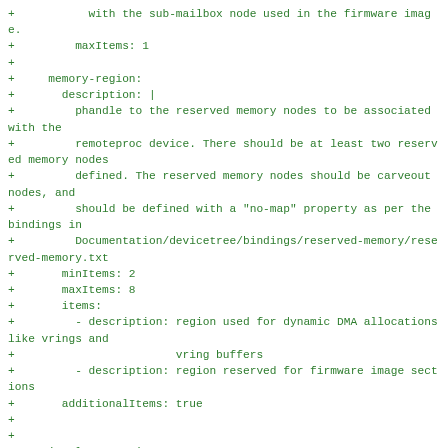+           with the sub-mailbox node used in the firmware image.
+         maxItems: 1
+
+     memory-region:
+       description: |
+         phandle to the reserved memory nodes to be associated with the
+         remoteproc device. There should be at least two reserved memory nodes
+         defined. The reserved memory nodes should be carveout nodes, and
+         should be defined with a "no-map" property as per the bindings in
+         Documentation/devicetree/bindings/reserved-memory/reserved-memory.txt
+       minItems: 2
+       maxItems: 8
+       items:
+         - description: region used for dynamic DMA allocations like vrings and
+                        vring buffers
+         - description: region reserved for firmware image sections
+       additionalItems: true
+
+
+# Optional properties:
+# --------------------
+# The following properties are optional properties for